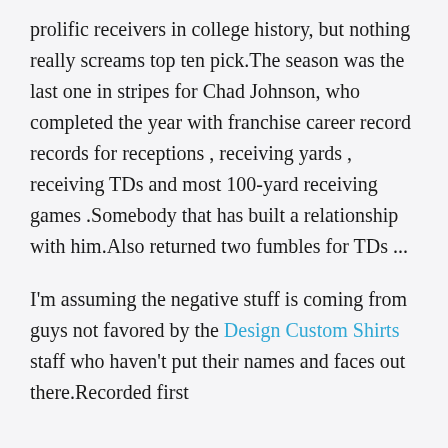prolific receivers in college history, but nothing really screams top ten pick.The season was the last one in stripes for Chad Johnson, who completed the year with franchise career record records for receptions , receiving yards , receiving TDs and most 100-yard receiving games .Somebody that has built a relationship with him.Also returned two fumbles for TDs ...
I'm assuming the negative stuff is coming from guys not favored by the Design Custom Shirts staff who haven't put their names and faces out there.Recorded first